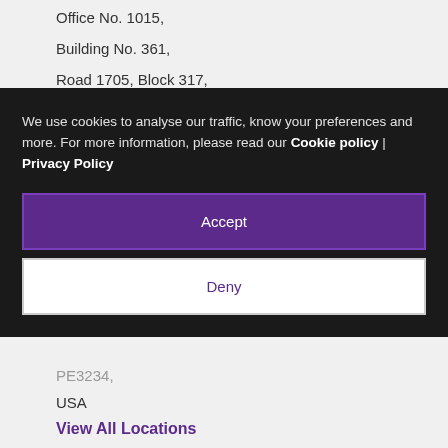Office No. 1015,
Building No. 361,
Road 1705, Block 317,
Diplomatic Area,
We use cookies to analyse our traffic, know your preferences and more. For more information, please read our Cookie policy | Privacy Policy
Accept
Deny
PE3234,
USA
View All Locations